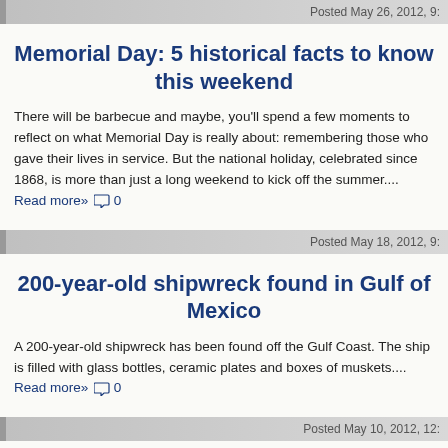Posted May 26, 2012, 9:
Memorial Day: 5 historical facts to know this weekend
There will be barbecue and maybe, you'll spend a few moments to reflect on what Memorial Day is really about: remembering those who gave their lives in service. But the national holiday, celebrated since 1868, is more than just a long weekend to kick off the summer.... Read more» 0
Posted May 18, 2012, 9:
200-year-old shipwreck found in Gulf of Mexico
A 200-year-old shipwreck has been found off the Gulf Coast. The ship is filled with glass bottles, ceramic plates and boxes of muskets.... Read more» 0
Posted May 10, 2012, 12:
New Mayan calendar discovered: World